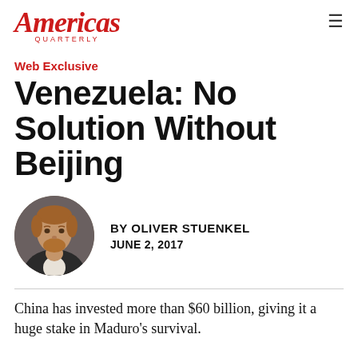Americas Quarterly
Web Exclusive
Venezuela: No Solution Without Beijing
[Figure (photo): Circular headshot of author Oliver Stuenkel, a man with reddish-brown hair and beard, wearing a suit jacket, against a dark background.]
BY OLIVER STUENKEL
JUNE 2, 2017
China has invested more than $60 billion, giving it a huge stake in Maduro's survival.